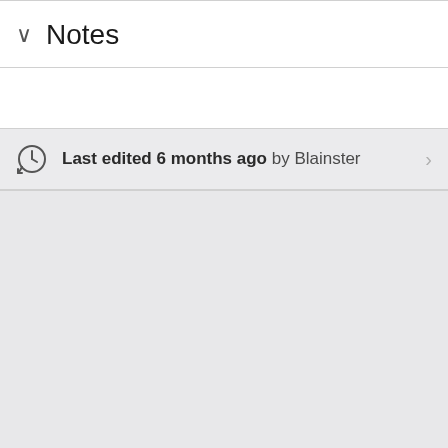Notes
Last edited 6 months ago by Blainster